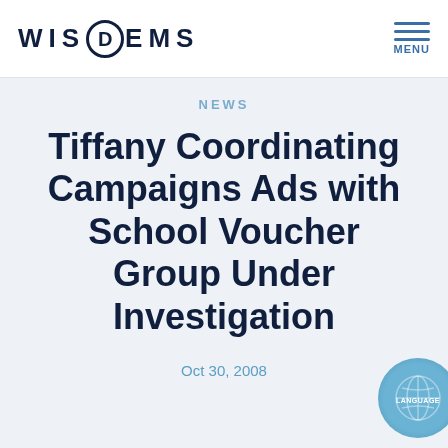WISDEMS | MENU
NEWS
Tiffany Coordinating Campaigns Ads with School Voucher Group Under Investigation
Oct 30, 2008